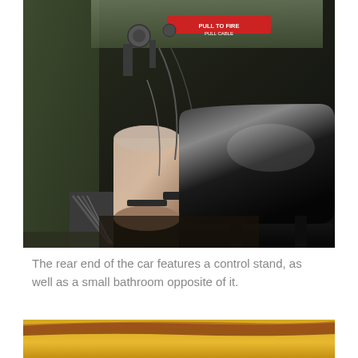[Figure (photo): Interior of a train car showing a control stand area with dark leather seat, green metal walls, a fire extinguisher or fluid container, cables, pedals, and a red warning label at the top.]
The rear end of the car features a control stand, as well as a small bathroom opposite of it.
[Figure (photo): Partial view of a yellow curved interior surface with a brown/red trim or edge, likely the bottom of a train car interior.]